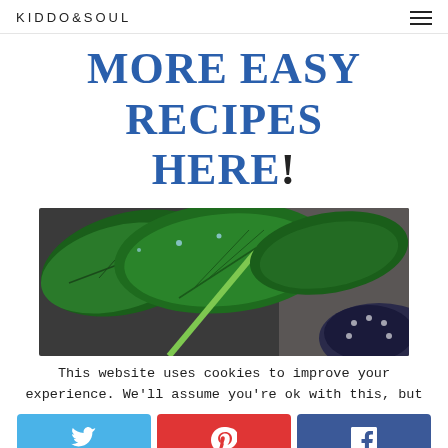KIDDO&SOUL
MORE EASY RECIPES HERE!
[Figure (photo): Close-up photo of fresh spinach leaves in a decorative bowl, dark background]
This website uses cookies to improve your experience. We'll assume you're ok with this, but
[Figure (infographic): Three social share buttons: Twitter (blue), Pinterest (red), Facebook (dark blue)]